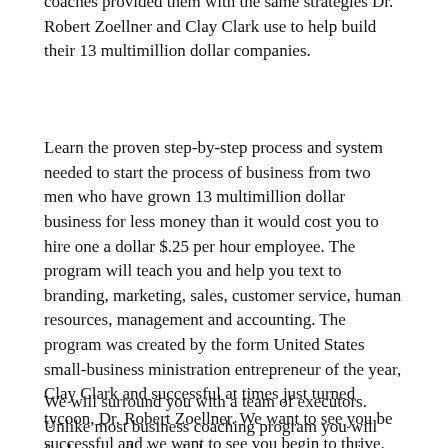coaches provided them with the same strategies Dr. Robert Zoellner and Clay Clark use to help build their 13 multimillion dollar companies.
Learn the proven step-by-step process and system needed to start the process of business from two men who have grown 13 multimillion dollar business for less money than it would cost you to hire one a dollar $.25 per hour employee. The program will teach you and help you text to branding, marketing, sales, customer service, human resources, management and accounting. The program was created by the form United States small-business ministration entrepreneur of the year, Clay Clark and successful at times just turned tycoon, Dr. Robert Zoellner. We want to see you be successful and we want to see you begin to thrive.
We will surround you with a team of executors. Unlike most business coaching program you will find a team that can help you execute your vision. You receive good